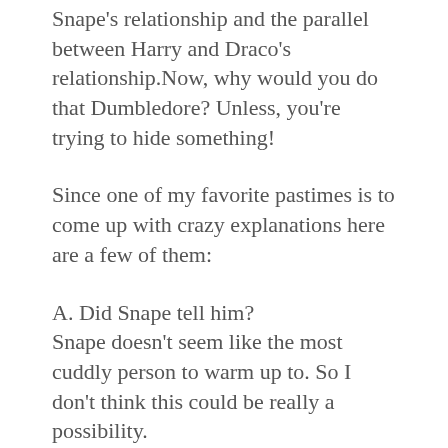Snape's relationship and the parallel between Harry and Draco's relationship.Now, why would you do that Dumbledore? Unless, you're trying to hide something!
Since one of my favorite pastimes is to come up with crazy explanations here are a few of them:
A. Did Snape tell him?
Snape doesn't seem like the most cuddly person to warm up to. So I don't think this could be really a possibility.
B. Did he go to school with Snape and James Potter?
There is an emphasis on the fact he's young  or on the younger side so I'm assuming not.
C. Did Lord Voldemort tell him?